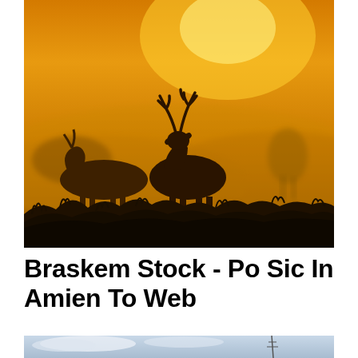[Figure (photo): Silhouettes of deer (including a stag with antlers) standing in misty golden-orange foggy field at sunrise or sunset, with dark vegetation in the foreground]
Braskem Stock - Po Sic In Amien To Web
[Figure (photo): Partial view of a sky with clouds and what appears to be a tower or antenna structure, cropped at the bottom of the page]